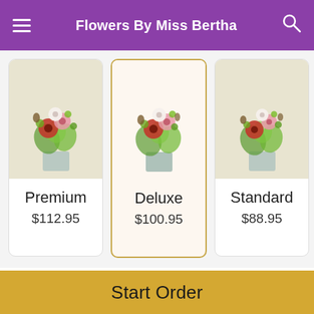Flowers By Miss Bertha
[Figure (screenshot): Three product option cards: Premium ($112.95), Deluxe ($100.95, selected with yellow border and pink background), Standard ($88.95), each with a floral arrangement image above the name and price.]
Make it extra special with a perfectly crafted design.
When do you need it?
Delivery	Pick Up
Start Order